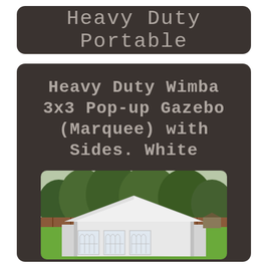Heavy Duty Portable
Heavy Duty Wimba 3x3 Pop-up Gazebo (Marquee) with Sides. White
[Figure (photo): White pop-up gazebo (marquee) with sides erected on a lawn in a garden, with wooden fence and trees in the background.]